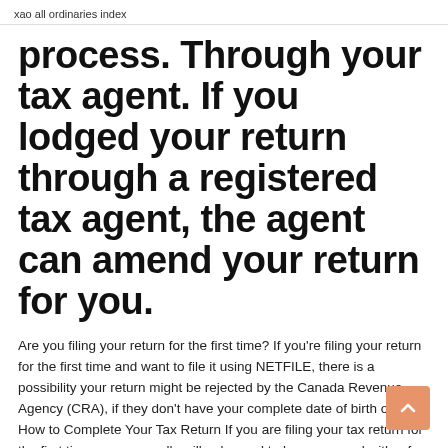xao all ordinaries index
process. Through your tax agent. If you lodged your return through a registered tax agent, the agent can amend your return for you.
Are you filing your return for the first time? If you're filing your return for the first time and want to file it using NETFILE, there is a possibility your return might be rejected by the Canada Revenue Agency (CRA), if they don't have your complete date of birth on file. How to Complete Your Tax Return If you are filing your tax return for the first time, you generally will only need to be concerned with a few of sections of your T1 tax form. Income is the first section of this form, so make sure you have collected and saved a T4 all your income slips from the past